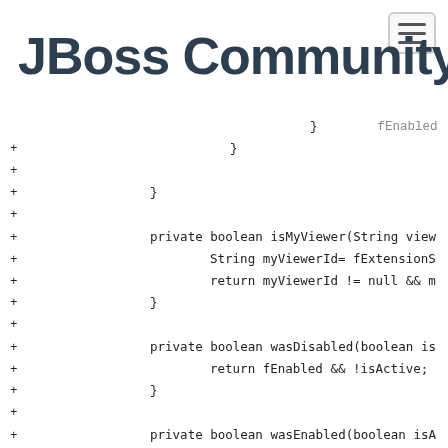JBoss Community
JBoss List Archives
+ }
+ }
+
+ }
+
+ private boolean isMyViewer(String view...
+             String myViewerId= fExtensionS...
+             return myViewerId != null && m...
+ }
+
+ private boolean wasDisabled(boolean is...
+             return fEnabled && !isActive;
+ }
+
+ private boolean wasEnabled(boolean isA...
+             return !fEnabled && isActive;
+ }